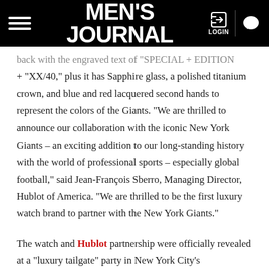MEN'S JOURNAL
back with the engraved text of "SPECIAL + EDITION + "XX/40," plus it has Sapphire glass, a polished titanium crown, and blue and red lacquered second hands to represent the colors of the Giants. "We are thrilled to announce our collaboration with the iconic New York Giants – an exciting addition to our long-standing history with the world of professional sports – especially global football," said Jean-François Sberro, Managing Director, Hublot of America. "We are thrilled to be the first luxury watch brand to partner with the New York Giants."
The watch and Hublot partnership were officially revealed at a "luxury tailgate" party in New York City's